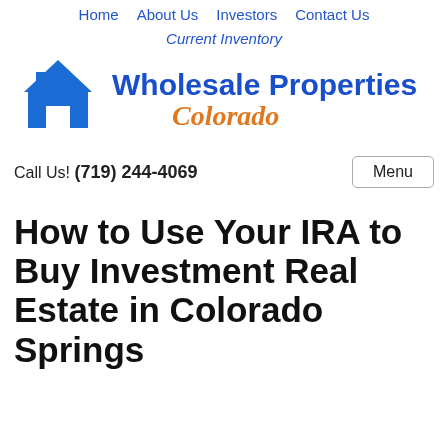Home  About Us  Investors  Contact Us
Current Inventory
[Figure (logo): Wholesale Properties Colorado logo with blue house icon and blue/orange text]
Call Us! (719) 244-4069
How to Use Your IRA to Buy Investment Real Estate in Colorado Springs